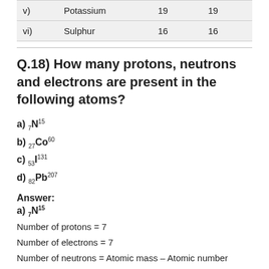|  |  |  |  |
| --- | --- | --- | --- |
| v) | Potassium | 19 | 19 |
| vi) | Sulphur | 16 | 16 |
Q.18) How many protons, neutrons and electrons are present in the following atoms?
a) 7N15
b) 27Co60
c) 53I131
d) 82Pb207
Answer:
a) 7N15
Number of protons = 7
Number of electrons = 7
Number of neutrons = Atomic mass – Atomic number